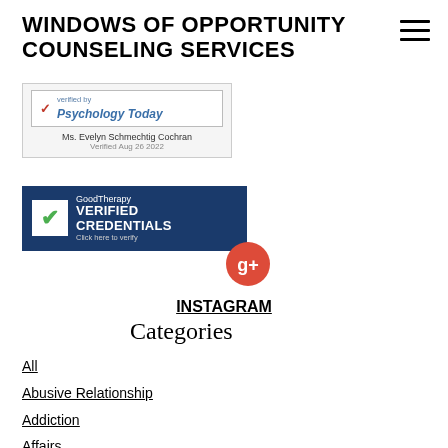WINDOWS OF OPPORTUNITY COUNSELING SERVICES
[Figure (logo): Psychology Today verified badge showing checkmark, 'verified by Psychology Today' text, Ms. Evelyn Schmechtig Cochran name, Verified Aug 26 2022]
[Figure (logo): GoodTherapy Verified Credentials badge with green checkmark on white square, dark blue background, text: GoodTherapy VERIFIED CREDENTIALS Click here to verify]
[Figure (logo): Google Plus circular red icon with G+ symbol]
INSTAGRAM
Categories
All
Abusive Relationship
Addiction
Affairs
Affordable Care Act
Alanis Morissette
Anger